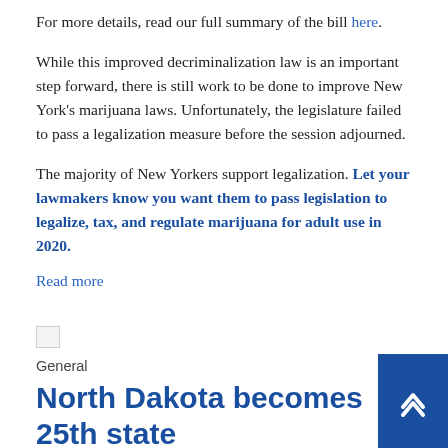For more details, read our full summary of the bill here.
While this improved decriminalization law is an important step forward, there is still work to be done to improve New York's marijuana laws. Unfortunately, the legislature failed to pass a legalization measure before the session adjourned.
The majority of New Yorkers support legalization. Let your lawmakers know you want them to pass legislation to legalize, tax, and regulate marijuana for adult use in 2020.
Read more
[Figure (illustration): Small broken image icon placeholder]
General
North Dakota becomes 25th state to eliminate jail time for